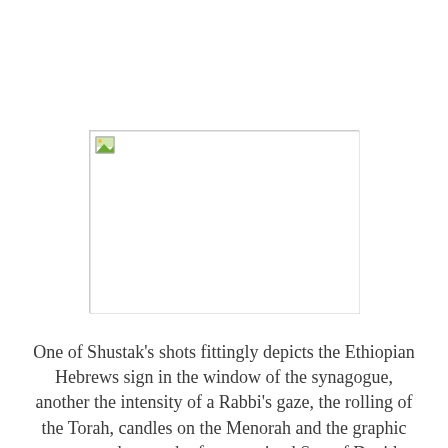[Figure (photo): A placeholder image box with a broken image icon in the top-left corner, displayed with a light gray border. The image area is mostly white/blank.]
One of Shustak's shots fittingly depicts the Ethiopian Hebrews sign in the window of the synagogue, another the intensity of a Rabbi's gaze, the rolling of the Torah, candles on the Menorah and the graphic power and strength of an entwined Star of David. Surface details take on deeper